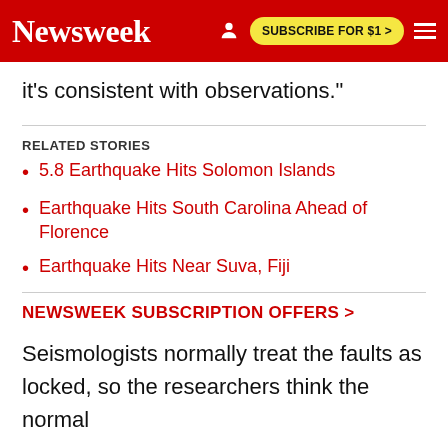Newsweek | SUBSCRIBE FOR $1 >
it's consistent with observations."
RELATED STORIES
5.8 Earthquake Hits Solomon Islands
Earthquake Hits South Carolina Ahead of Florence
Earthquake Hits Near Suva, Fiji
NEWSWEEK SUBSCRIPTION OFFERS >
Seismologists normally treat the faults as locked, so the researchers think the normal